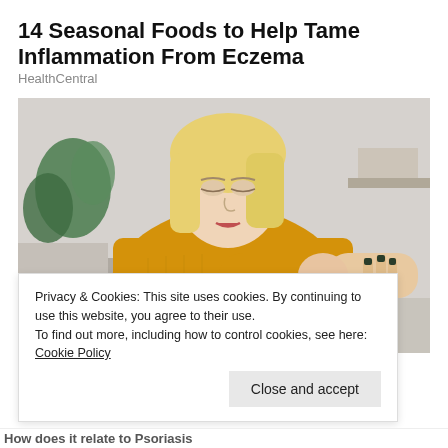14 Seasonal Foods to Help Tame Inflammation From Eczema
HealthCentral
[Figure (photo): A blonde woman in a yellow/mustard knit sweater scratching or examining the inside of her elbow, seated on a couch with a plant in the background. The image illustrates eczema or skin inflammation.]
Privacy & Cookies: This site uses cookies. By continuing to use this website, you agree to their use.
To find out more, including how to control cookies, see here: Cookie Policy
Close and accept
How does it relate to Psoriasis